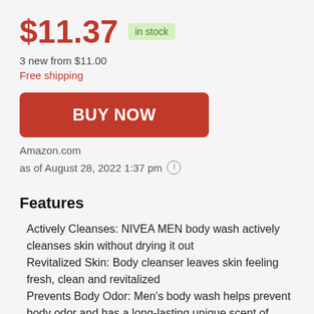$11.37 in stock
3 new from $11.00
Free shipping
BUY NOW
Amazon.com
as of August 28, 2022 1:37 pm ℹ
Features
Actively Cleanses: NIVEA MEN body wash actively cleanses skin without drying it out
Revitalized Skin: Body cleanser leaves skin feeling fresh, clean and revitalized
Prevents Body Odor: Men's body wash helps prevent body odor and has a long-lasting unique scent of